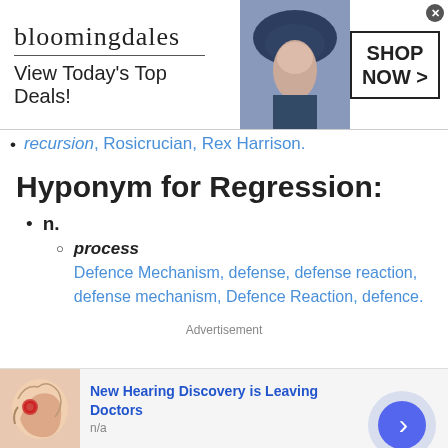[Figure (other): Bloomingdales advertisement banner: logo, 'View Today's Top Deals!' tagline, photo of woman with hat, 'SHOP NOW >' button]
recursion, Rosicrucian, Rex Harrison.
Hyponym for Regression:
n.
process — Defence Mechanism, defense, defense reaction, defense mechanism, Defence Reaction, defence.
Advertisement
[Figure (other): Bottom advertisement: 'New Hearing Discovery is Leaving Doctors' with hearing anatomy image and navigation arrow button]